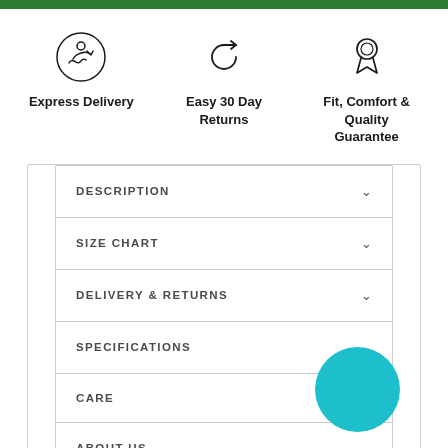[Figure (infographic): Green horizontal bar at top of page]
[Figure (infographic): Express Delivery icon - hand holding box with arrow]
Express Delivery
[Figure (infographic): Easy 30 Day Returns icon - circular arrows]
Easy 30 Day Returns
[Figure (infographic): Fit, Comfort & Quality Guarantee icon - award ribbon]
Fit, Comfort & Quality Guarantee
DESCRIPTION
SIZE CHART
DELIVERY & RETURNS
SPECIFICATIONS
CARE
ABOUT US